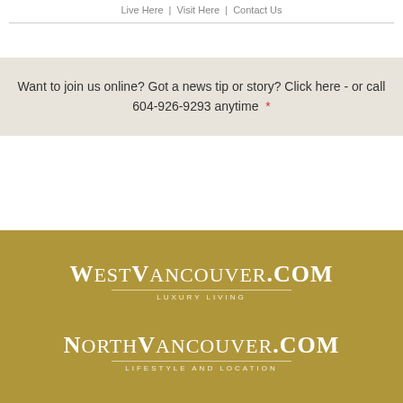Live Here  |  Visit Here  |  Contact Us
Want to join us online? Got a news tip or story? Click here - or call 604-926-9293 anytime
[Figure (logo): WestVancouver.com - Luxury Living logo in white text on gold/tan background]
[Figure (logo): NorthVancouver.com - Lifestyle and Location logo in white text on gold/tan background]